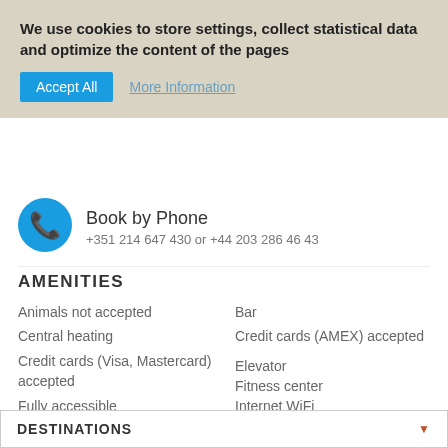We use cookies to store settings, collect statistical data and optimize the content of the pages
Accept All   More Information
Book by Phone
+351 214 647 430 or +44 203 286 46 43
AMENITIES
Animals not accepted
Bar
Central heating
Credit cards (AMEX) accepted
Credit cards (Visa, Mastercard) accepted
Elevator
Fitness center
Fully accessible
Internet WiFi
Library
Meeting room
Parking covered
Restaurant
ROOM AMENITIES
DESTINATIONS
Air conditioning
DVD